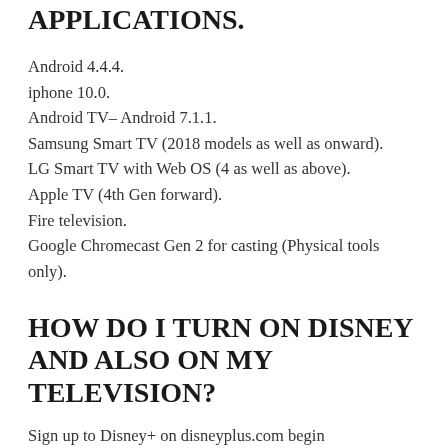APPLICATIONS.
Android 4.4.4.
iphone 10.0.
Android TV– Android 7.1.1.
Samsung Smart TV (2018 models as well as onward).
LG Smart TV with Web OS (4 as well as above).
Apple TV (4th Gen forward).
Fire television.
Google Chromecast Gen 2 for casting (Physical tools only).
HOW DO I TURN ON DISNEY AND ALSO ON MY TELEVISION?
Sign up to Disney+ on disneyplus.com begin